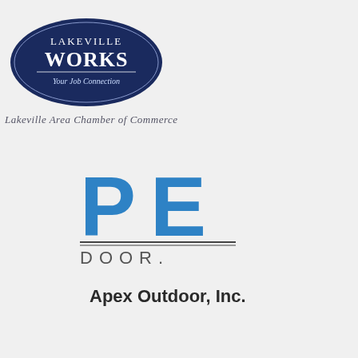[Figure (logo): Lakeville Works logo - dark navy blue oval with white text reading LAKEVILLE WORKS and tagline Your Job Connection]
Lakeville Area Chamber of Commerce
[Figure (logo): Apex Outdoor logo showing large blue letters PE with DOOR text below and a horizontal line separator]
Apex Outdoor, Inc.